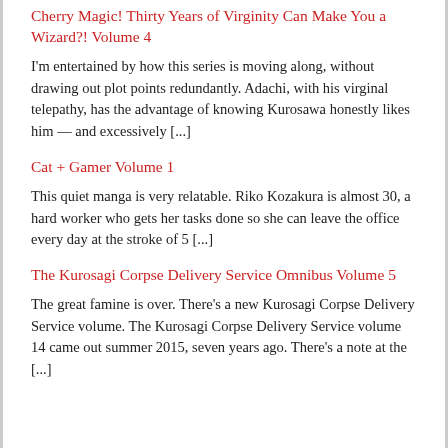Cherry Magic! Thirty Years of Virginity Can Make You a Wizard?! Volume 4
I'm entertained by how this series is moving along, without drawing out plot points redundantly. Adachi, with his virginal telepathy, has the advantage of knowing Kurosawa honestly likes him — and excessively [...]
Cat + Gamer Volume 1
This quiet manga is very relatable. Riko Kozakura is almost 30, a hard worker who gets her tasks done so she can leave the office every day at the stroke of 5 [...]
The Kurosagi Corpse Delivery Service Omnibus Volume 5
The great famine is over. There's a new Kurosagi Corpse Delivery Service volume. The Kurosagi Corpse Delivery Service volume 14 came out summer 2015, seven years ago. There's a note at the [...]